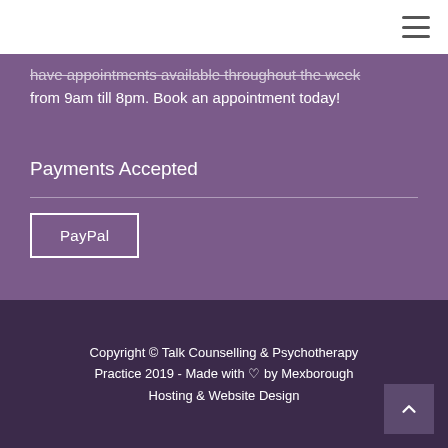have appointments available throughout the week from 9am till 8pm. Book an appointment today!
Payments Accepted
PayPal
Copyright © Talk Counselling & Psychotherapy Practice 2019 - Made with ♡ by Mexborough Hosting & Website Design